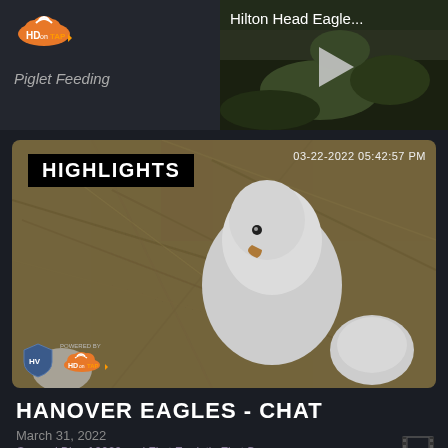[Figure (screenshot): HD on Tap logo and Piglet Feeding text in dark UI panel top left]
Piglet Feeding
[Figure (screenshot): Hilton Head Eagle... video thumbnail with play button, dark nature background]
Hilton Head Eagle...
[Figure (photo): Highlights video thumbnail showing baby eaglet in a nest with egg, timestamp 03-22-2022 05:42:57 PM, HIGHLIGHTS label overlay, HD on Tap logo at bottom left]
HANOVER EAGLES - CHAT
March 31, 2022
Second Pip of 2022 and First Eaglet's First Day